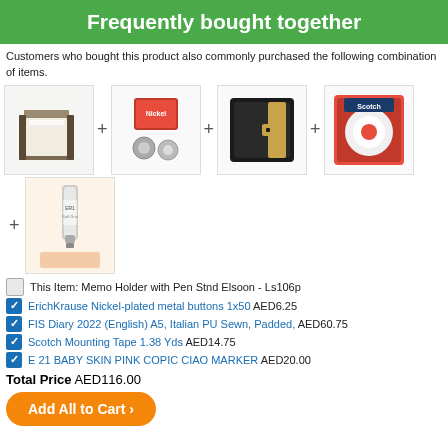Frequently bought together
Customers who bought this product also commonly purchased the following combination of items.
[Figure (photo): Product images: Memo Holder with Pen Stand, ErichKrause metal buttons, FIS Diary, Scotch Mounting Tape, and Copic Ciao Marker arranged with plus signs between them]
This Item: Memo Holder with Pen Stnd Elsoon - Ls106p
ErichKrause Nickel-plated metal buttons 1x50 AED6.25
FIS Diary 2022 (English) A5, Italian PU Sewn, Padded, AED60.75
Scotch Mounting Tape 1.38 Yds AED14.75
E 21 BABY SKIN PINK COPIC CIAO MARKER AED20.00
Total Price AED116.00